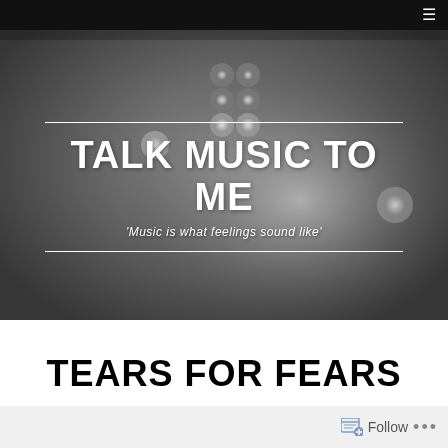≡
[Figure (photo): Black and white photo of stage lights/spotlights with bokeh effect, used as hero banner background]
TALK MUSIC TO ME
'Music is what feelings sound like'
TEARS FOR FEARS
Follow ...